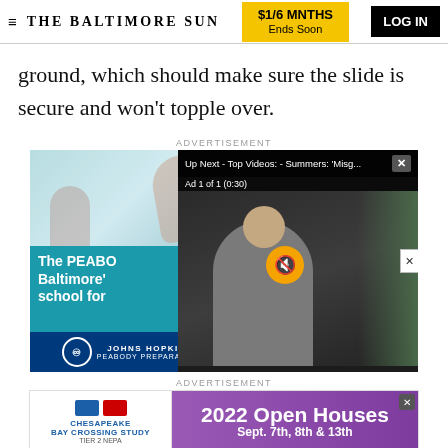THE BALTIMORE SUN | $1/6 MNTHS Ends Soon | LOG IN
ground, which should make sure the slide is secure and won't topple over.
ADVERTISEMENT
[Figure (screenshot): Advertisement overlay showing Peabody Preparatory (Johns Hopkins) ad on the left with ballet dancer image, and a video player overlay on the right showing a person being interviewed with 'Up Next - Top Videos: - Summers: Misg...' and 'Ad 1 of 1 (0:30)' with mute button]
ADVERTISEMENT
[Figure (screenshot): Chesapeake Bay Crossing Study Tier 2 NEPA advertisement banner with '2022 Open Houses Sept. 7th, 8th & 13th' on purple background]